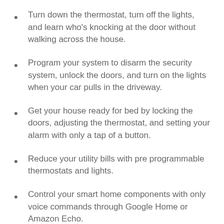Turn down the thermostat, turn off the lights, and learn who’s knocking at the door without walking across the house.
Program your system to disarm the security system, unlock the doors, and turn on the lights when your car pulls in the driveway.
Get your house ready for bed by locking the doors, adjusting the thermostat, and setting your alarm with only a tap of a button.
Reduce your utility bills with pre programmable thermostats and lights.
Control your smart home components with only voice commands through Google Home or Amazon Echo.